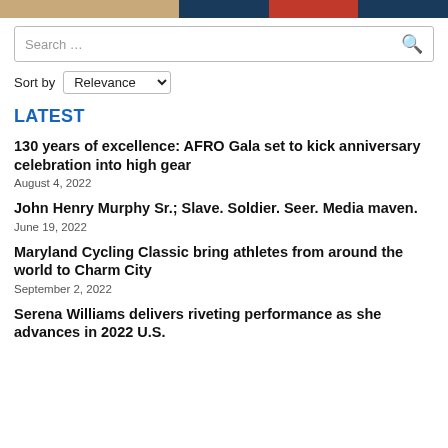[Figure (other): Decorative header banner with tan, navy, red, and dark blue color blocks]
Search ...
Sort by Relevance
LATEST
130 years of excellence: AFRO Gala set to kick anniversary celebration into high gear
August 4, 2022
John Henry Murphy Sr.; Slave. Soldier. Seer. Media maven.
June 19, 2022
Maryland Cycling Classic bring athletes from around the world to Charm City
September 2, 2022
Serena Williams delivers riveting performance as she advances in 2022 U.S.